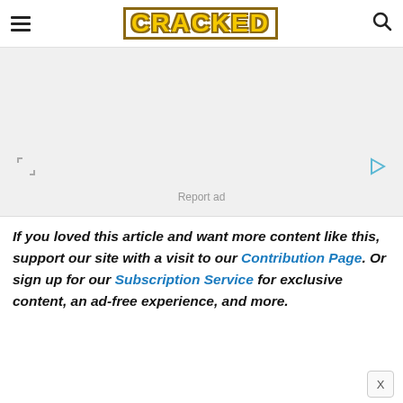CRACKED
[Figure (other): Advertisement placeholder with light gray background, a square bracket icon on the lower left, a play button triangle icon on the lower right, and 'Report ad' text at the bottom center.]
If you loved this article and want more content like this, support our site with a visit to our Contribution Page. Or sign up for our Subscription Service for exclusive content, an ad-free experience, and more.